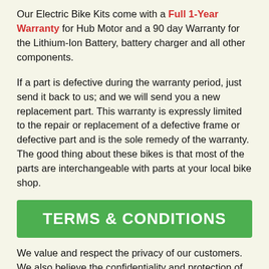Our Electric Bike Kits come with a Full 1-Year Warranty for Hub Motor and a 90 day Warranty for the Lithium-Ion Battery, battery charger and all other components.
If a part is defective during the warranty period, just send it back to us; and we will send you a new replacement part. This warranty is expressly limited to the repair or replacement of a defective frame or defective part and is the sole remedy of the warranty. The good thing about these bikes is that most of the parts are interchangeable with parts at your local bike shop.
TERMS & CONDITIONS
We value and respect the privacy of our customers. We also believe the confidentiality and protection of customer information is one of our fundamental responsibilities. We do not